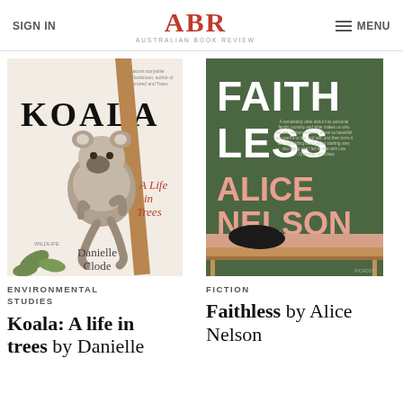SIGN IN | ABR AUSTRALIAN BOOK REVIEW | MENU
[Figure (photo): Book cover of Koala: A Life in Trees by Danielle Clode, featuring a koala climbing a tree branch on a cream background with red subtitle text.]
ENVIRONMENTAL STUDIES
Koala: A life in trees by Danielle
[Figure (photo): Book cover of Faithless by Alice Nelson, featuring bold white and pink text on a dark green background with a person slumped over a desk.]
FICTION
Faithless by Alice Nelson